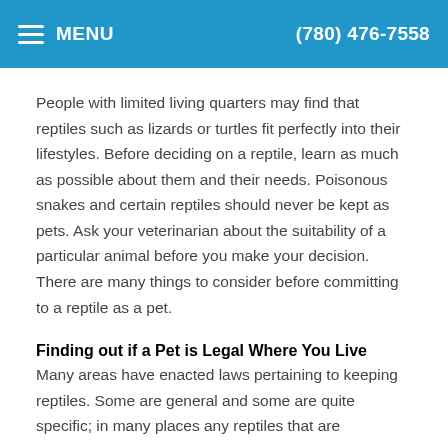MENU  (780) 476-7558
People with limited living quarters may find that reptiles such as lizards or turtles fit perfectly into their lifestyles. Before deciding on a reptile, learn as much as possible about them and their needs. Poisonous snakes and certain reptiles should never be kept as pets. Ask your veterinarian about the suitability of a particular animal before you make your decision. There are many things to consider before committing to a reptile as a pet.
Finding out if a Pet is Legal Where You Live
Many areas have enacted laws pertaining to keeping reptiles. Some are general and some are quite specific; in many places any reptiles that are